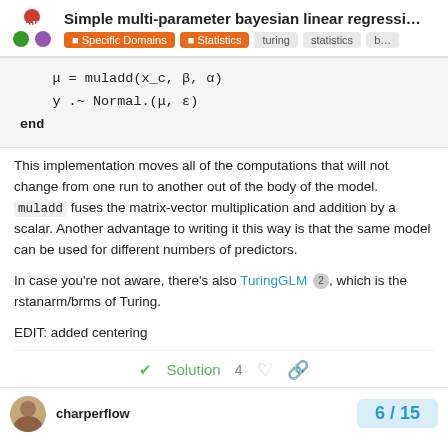Simple multi-parameter bayesian linear regressi... | Specific Domains | Statistics | turing | statistics | b...
μ = muladd(x_c, β, α)
    y .~ Normal.(μ, ε)
end
This implementation moves all of the computations that will not change from one run to another out of the body of the model. muladd fuses the matrix-vector multiplication and addition by a scalar. Another advantage to writing it this way is that the same model can be used for different numbers of predictors.
In case you're not aware, there's also TuringGLM 2 , which is the rstanarm/brms of Turing.
EDIT: added centering
✓ Solution  4
charperflow  6 / 15